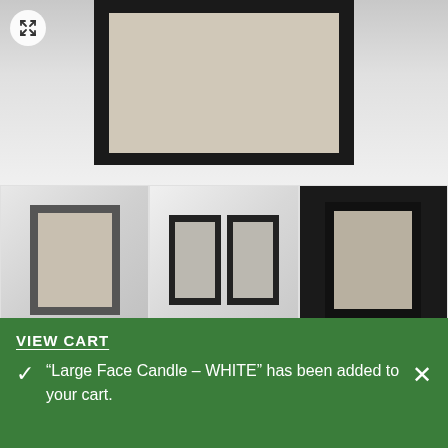[Figure (screenshot): Hero product image showing a framed art print of a white vase on a shelf, top portion cropped. Expand/zoom button in top-left corner.]
[Figure (screenshot): Three thumbnail images of the Cheeky Bum Vase Print product: grey frame, double black frames, and dark framed version. Left and right navigation arrows visible.]
Cheeky Bum Vase Print
£12.00 £6.00 incl VAT
or 4 interest-free payments of £1.50 with clearpay
VIEW CART
"Large Face Candle – WHITE" has been added to your cart.